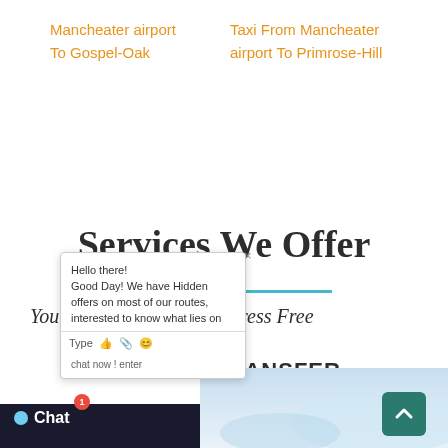Mancheater airport To Gospel-Oak
Taxi From Mancheater airport To Primrose-Hill
Services We Offer
Your Travel Simple And Stress Free
AIRPORT TRANSFER
Hello there! Good Day! We have Hidden offers on most of our routes, interested to know what lies on
chat now ! enter
Special Offer
Chat